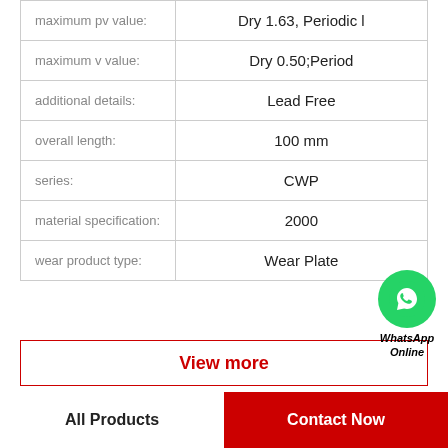| Property | Value |
| --- | --- |
| maximum pv value: | Dry 1.63, Periodic l |
| maximum v value: | Dry 0.50;Period |
| additional details: | Lead Free |
| overall length: | 100 mm |
| series: | CWP |
| material specification: | 2000 |
| wear product type: | Wear Plate |
[Figure (logo): WhatsApp Online button with green phone icon and italic bold label]
View more
All Products | Contact Now